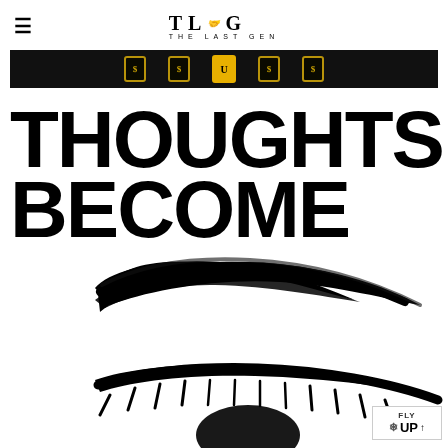THE LAST GEN
[Figure (illustration): Dark banner with illustrated coin/token icons on black background]
THOUGHTS BECOME THINGS
[Figure (illustration): Black and white ink illustration of a human eye with expressive brushstroke eyebrow]
[Figure (logo): FLY UP badge with snowflake icon in bottom right corner]